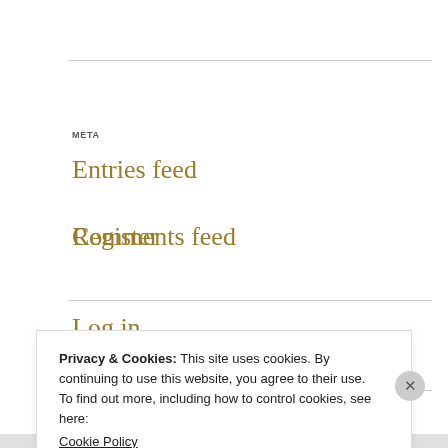META
Register
Log in
Entries feed
Comments feed
Privacy & Cookies: This site uses cookies. By continuing to use this website, you agree to their use.
To find out more, including how to control cookies, see here:
Cookie Policy
Close and accept